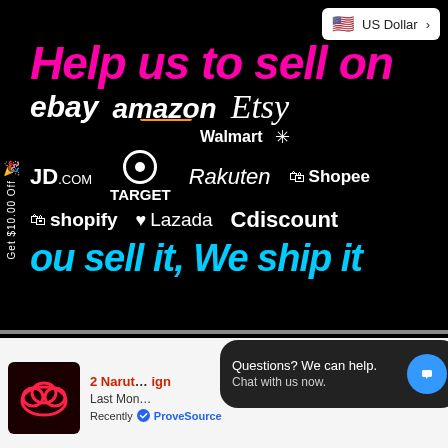[Figure (screenshot): E-commerce fulfillment service promotional banner on black background. Top right shows a US Dollar currency selector button. Left side has a vertical 'Get $10.00 Off' tab. Main text reads 'Help us to sell on' in pink/magenta, followed by marketplace logos: ebay, amazon, Etsy, Walmart, JD.com, TARGET, Rakuten, Shopee, shopify, Lazada, Cdiscount. Bottom bold cyan italic text reads 'ou sell it, We ship it'.]
US Dollar
Get $10.00 Off
Help us to sell on
ebay  amazon  Etsy  Walmart  JD.com  TARGET  Rakuten  Shopee  shopify  Lazada  Cdiscount
ou sell it, We ship it
2 Narut... ign
Last Mon...
Recently  ProveSource
Questions? We can help. Chat with us now.